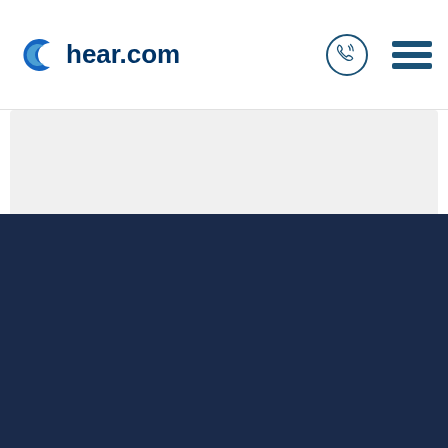[Figure (logo): hear.com logo with blue crescent C icon and bold dark blue text 'hear.com' in the navigation bar]
[Figure (logo): hear.com logo large white version on dark navy background with tagline 'simply good hearing']
+91 9870599988
Mon-Sat 9:00 am - 8:00 pm